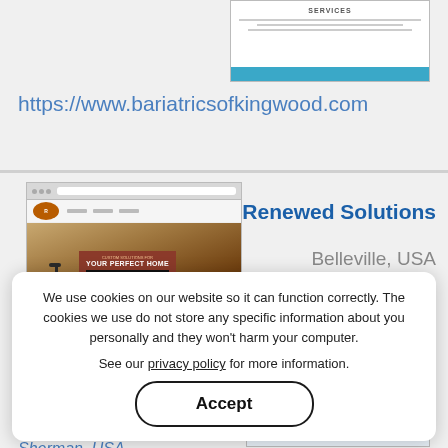[Figure (screenshot): Screenshot of bariatrics of kingwood website showing SERVICES section with teal bar]
https://www.bariatricsofkingwood.com
[Figure (screenshot): Screenshot of Renewed Solutions website showing kitchen remodel with 'Custom Solutions for YOUR PERFECT HOME' banner and sink]
Renewed Solutions
Belleville, USA
https://www.renewedsolutions.net
We use cookies on our website so it can function correctly. The cookies we use do not store any specific information about you personally and they won't harm your computer.
See our privacy policy for more information.
Accept
NTS Orthopedic
Christian Isaac, M.D.
Sherman, USA